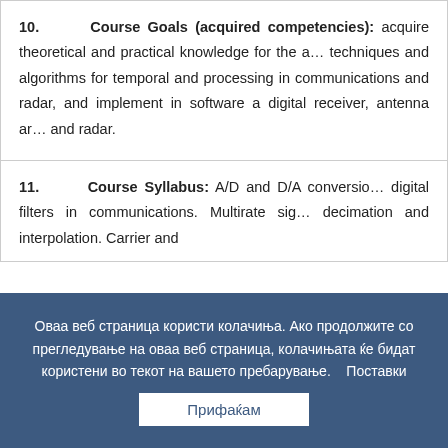10. Course Goals (acquired competencies): acquire theoretical and practical knowledge for the analysis, techniques and algorithms for temporal and spectral processing in communications and radar, and ability to implement in software a digital receiver, antenna array processor, and radar.
11. Course Syllabus: A/D and D/A conversion. FIR and IIR digital filters in communications. Multirate signal processing: decimation and interpolation. Carrier and timing synchronization.
Оваа веб страница користи колачиња. Ако продолжите со прегледување на оваа веб страница, колачињата ќе бидат користени во текот на вашето пребарување. Поставки
Прифаќам